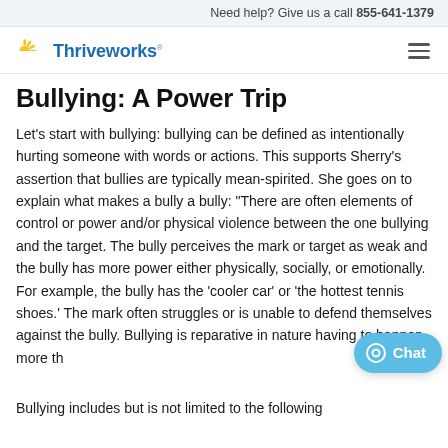Need help? Give us a call 855-641-1379
[Figure (logo): Thriveworks logo with sunburst icon and text]
Bullying: A Power Trip
Let's start with bullying: bullying can be defined as intentionally hurting someone with words or actions. This supports Sherry's assertion that bullies are typically mean-spirited. She goes on to explain what makes a bully a bully: “There are often elements of control or power and/or physical violence between the one bullying and the target. The bully perceives the mark or target as weak and the bully has more power either physically, socially, or emotionally. For example, the bully has the ‘cooler car’ or ‘the hottest tennis shoes.’ The mark often struggles or is unable to defend themselves against the bully. Bullying is reparative in nature having to happen more th
Bullying includes but is not limited to the following